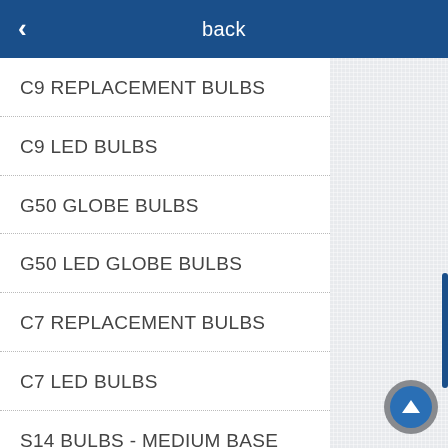back
C9 REPLACEMENT BULBS
C9 LED BULBS
G50 GLOBE BULBS
G50 LED GLOBE BULBS
C7 REPLACEMENT BULBS
C7 LED BULBS
S14 BULBS - MEDIUM BASE (E26)
S14 LED BULBS - MEDIUM BASE (E26)